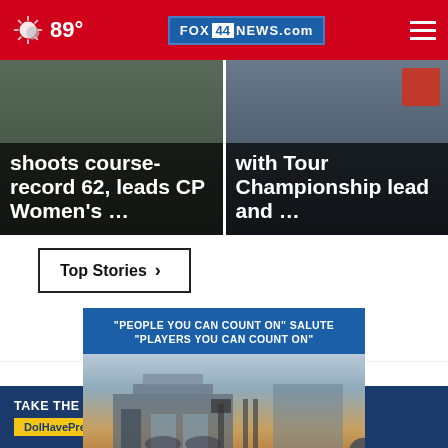89° FOX 44 NEWS.com
[Figure (screenshot): News card left: text overlay 'shoots course-record 62, leads CP Women's ...' on dark background]
[Figure (screenshot): News card right: text overlay 'with Tour Championship lead and ...' on dark background with red cooler image]
Top Stories ›
[Figure (screenshot): Advertisement popup: 'PEOPLE YOU CAN COUNT ON" SALUTE "PLAYERS YOU CAN COUNT ON"' with dealership photo and close (×) button]
[Figure (screenshot): Bottom advertisement: 'TAKE THE 1-MINUTE RISK TEST TODAY. DolHavePrediabetes.org' with ad council, AMA, CDC logos]
[Figure (logo): GMC logo footer bar]